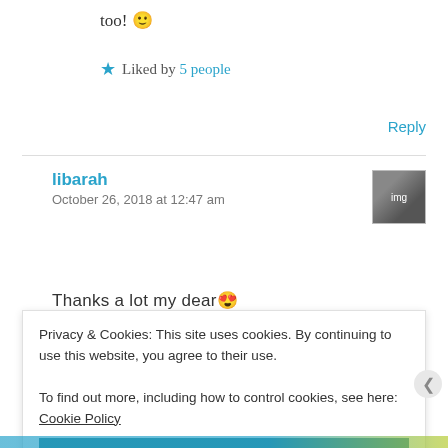too! 🙂
★ Liked by 5 people
Reply
libarah
October 26, 2018 at 12:47 am
Thanks a lot my dear 😍
Privacy & Cookies: This site uses cookies. By continuing to use this website, you agree to their use.
To find out more, including how to control cookies, see here: Cookie Policy
Close and accept